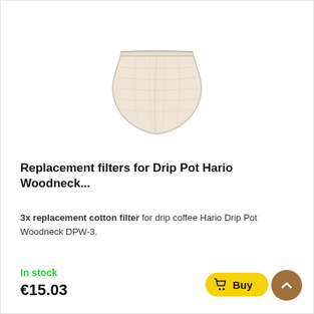[Figure (photo): A beige/cream colored cotton drip coffee filter for Hario Woodneck DPW-3, shown as a half-dome/bowl shaped fabric filter with a flat top edge, photographed on white background.]
Replacement filters for Drip Pot Hario Woodneck...
3x replacement cotton filter for drip coffee Hario Drip Pot Woodneck DPW-3.
In stock
€15.03